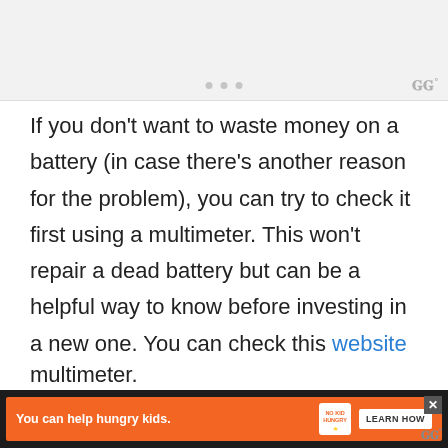[Figure (screenshot): Embedded video or image thumbnail area at top, gray background with three small pagination dots and a logo watermark in the top right corner]
If you don't want to waste money on a battery (in case there's another reason for the problem), you can try to check it first using a multimeter. This won't repair a dead battery but can be a helpful way to know before investing in a new one. You can check this website for exact steps on how to check the battery using a
[Figure (screenshot): Advertisement bar at bottom: orange banner reading 'You can help hungry kids.' with No Kid Hungry logo and LEARN HOW button, on dark background with close X button]